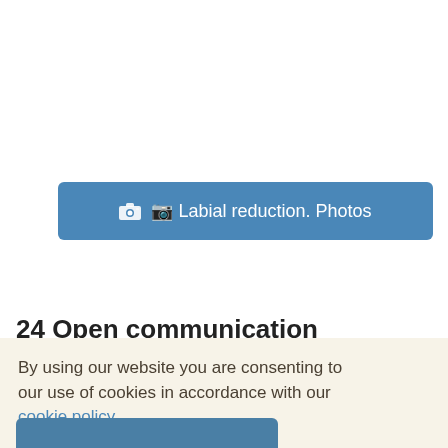[Figure (other): Blue button with camera icon labeled 'Labial reduction. Photos']
24 Open communication
By using our website you are consenting to our use of cookies in accordance with our cookie policy.
[Figure (other): Partially visible blue button at the bottom of the page]